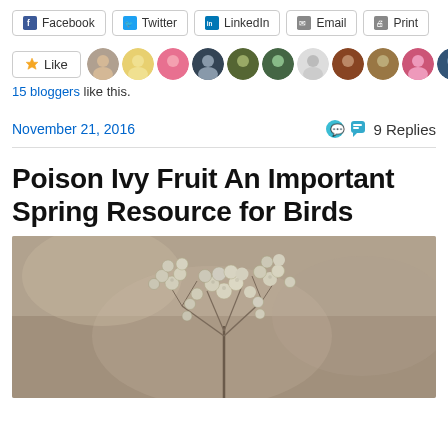[Figure (screenshot): Social share buttons row: Facebook, Twitter, LinkedIn, Email, Print]
[Figure (screenshot): Like button with star icon and a strip of 12 blogger avatar photos]
15 bloggers like this.
November 21, 2016    9 Replies
Poison Ivy Fruit An Important Spring Resource for Birds
[Figure (photo): Close-up photo of poison ivy fruit clusters - small round whitish-green berries on thin stems against a blurred brown background]